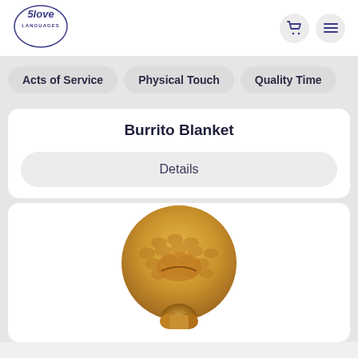[Figure (logo): 5 Love Languages logo — circular logo with text '5love LANGUAGES' in purple/dark blue]
[Figure (other): Shopping cart icon and hamburger menu icon in dark purple on light grey circular backgrounds]
Acts of Service
Physical Touch
Quality Time
Burrito Blanket
Details
[Figure (photo): Close-up photo of a burrito blanket — golden/brown textured tortilla-like round blanket shaped into a burrito wrap]